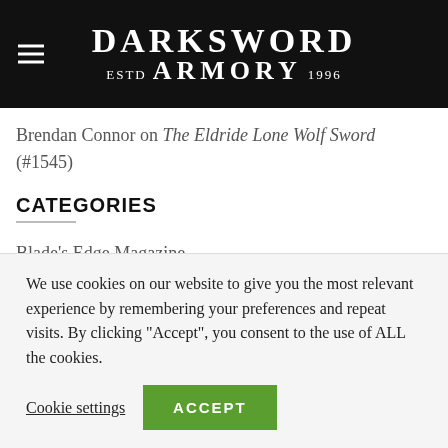DARKSWORD ESTD ARMORY 1996
Brendan Connor on The Eldride Lone Wolf Sword (#1545)
CATEGORIES
Blade's Edge Magazine
Blog
We use cookies on our website to give you the most relevant experience by remembering your preferences and repeat visits. By clicking “Accept”, you consent to the use of ALL the cookies.
Cookie settings   ACCEPT